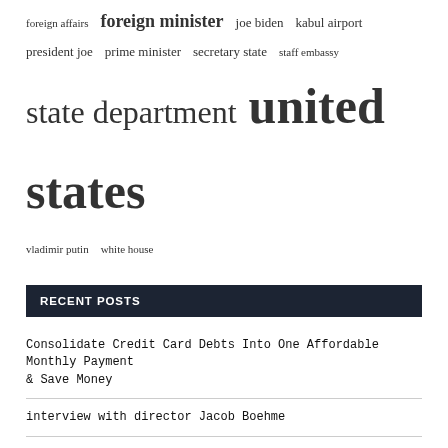foreign affairs  foreign minister  joe biden  kabul airport  president joe  prime minister  secretary state  staff embassy  state department  united states  vladimir putin  white house
RECENT POSTS
Consolidate Credit Card Debts Into One Affordable Monthly Payment & Save Money
interview with director Jacob Boehme
Pakistan appeals for international aid after floods
Afghan refugees in UAE protest over living facilities and slow resettlement
The United States delivered 23 fumigators as part of the